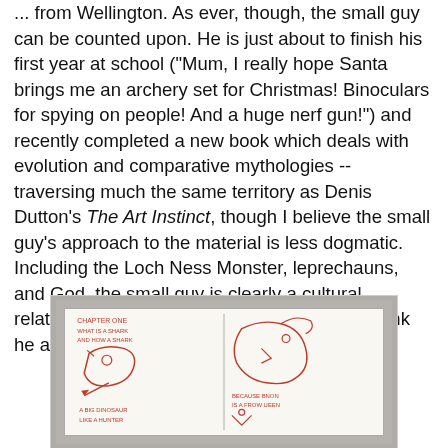... from Wellington. As ever, though, the small guy can be counted upon. He is just about to finish his first year at school ("Mum, I really hope Santa brings me an archery set for Christmas! Binoculars for spying on people! And a huge nerf gun!") and recently completed a new book which deals with evolution and comparative mythologies -- traversing much the same territory as Denis Dutton's The Art Instinct, though I believe the small guy's approach to the material is less dogmatic. Including the Loch Ness Monster, leprechauns, and God, the small guy is clearly a cultural relativist: put them in a room together and I think he and Dutton would have words.
[Figure (photo): A photograph of a child's hand-drawn book/drawing on white paper, placed on a granite/stone surface. The drawing appears to show creatures or characters with red crayon, with handwritten text including what appears to be chapter headings.]